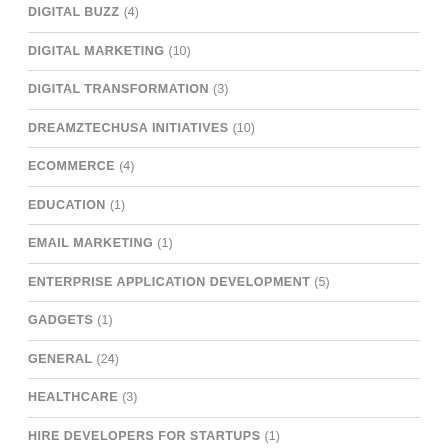DIGITAL BUZZ (4)
DIGITAL MARKETING (10)
DIGITAL TRANSFORMATION (3)
DREAMZTECHUSA INITIATIVES (10)
ECOMMERCE (4)
EDUCATION (1)
EMAIL MARKETING (1)
ENTERPRISE APPLICATION DEVELOPMENT (5)
GADGETS (1)
GENERAL (24)
HEALTHCARE (3)
HIRE DEVELOPERS FOR STARTUPS (1)